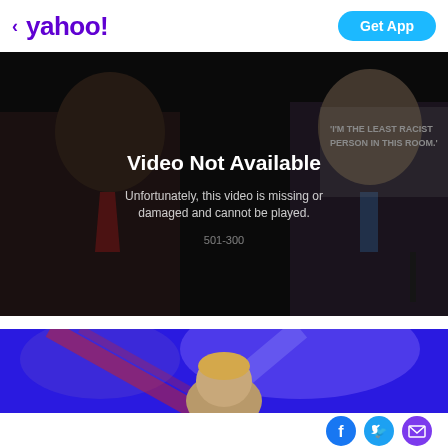yahoo! Get App
[Figure (screenshot): Video player showing 'Video Not Available' error over a dark background image of two debate participants. Text on image reads ''I'M THE LEAST RACIST PERSON IN THIS ROOM.' Error message: 'Unfortunately, this video is missing or damaged and cannot be played.' Error code: 501-300]
[Figure (photo): Second video thumbnail showing a person on stage with blue and red stage lighting]
[Figure (infographic): Social share icons: Facebook (blue circle with F), Twitter (cyan circle with bird), Email (purple circle with envelope)]